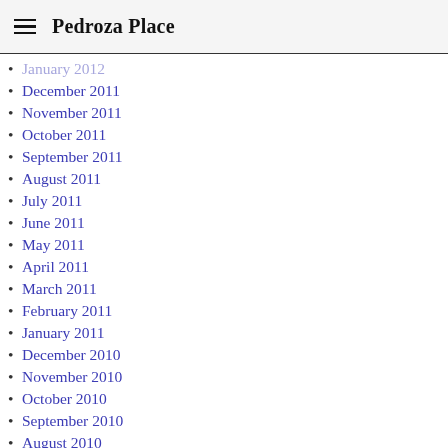Pedroza Place
January 2012
December 2011
November 2011
October 2011
September 2011
August 2011
July 2011
June 2011
May 2011
April 2011
March 2011
February 2011
January 2011
December 2010
November 2010
October 2010
September 2010
August 2010
July 2010